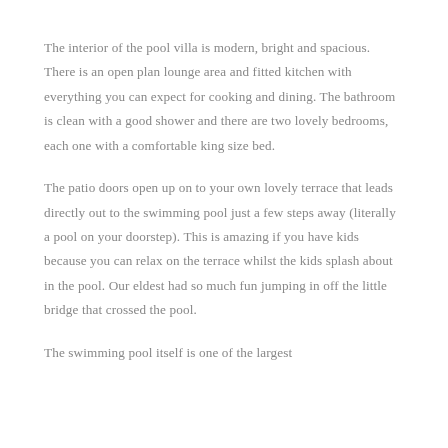The interior of the pool villa is modern, bright and spacious. There is an open plan lounge area and fitted kitchen with everything you can expect for cooking and dining. The bathroom is clean with a good shower and there are two lovely bedrooms, each one with a comfortable king size bed.
The patio doors open up on to your own lovely terrace that leads directly out to the swimming pool just a few steps away (literally a pool on your doorstep). This is amazing if you have kids because you can relax on the terrace whilst the kids splash about in the pool. Our eldest had so much fun jumping in off the little bridge that crossed the pool.
The swimming pool itself is one of the largest